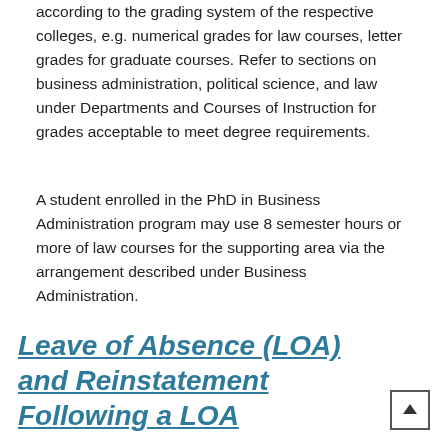according to the grading system of the respective colleges, e.g. numerical grades for law courses, letter grades for graduate courses. Refer to sections on business administration, political science, and law under Departments and Courses of Instruction for grades acceptable to meet degree requirements.
A student enrolled in the PhD in Business Administration program may use 8 semester hours or more of law courses for the supporting area via the arrangement described under Business Administration.
Leave of Absence (LOA) and Reinstatement Following a LOA